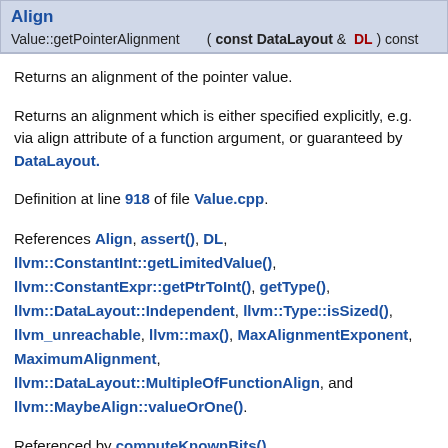Align
Value::getPointerAlignment ( const DataLayout & DL ) const
Returns an alignment of the pointer value.
Returns an alignment which is either specified explicitly, e.g. via align attribute of a function argument, or guaranteed by DataLayout.
Definition at line 918 of file Value.cpp.
References Align, assert(), DL, llvm::ConstantInt::getLimitedValue(), llvm::ConstantExpr::getPtrToInt(), getType(), llvm::DataLayout::Independent, llvm::Type::isSized(), llvm_unreachable, llvm::max(), MaxAlignmentExponent, MaximumAlignment, llvm::DataLayout::MultipleOfFunctionAlign, and llvm::MaybeAlign::valueOrOne().
Referenced by computeKnownBits(),